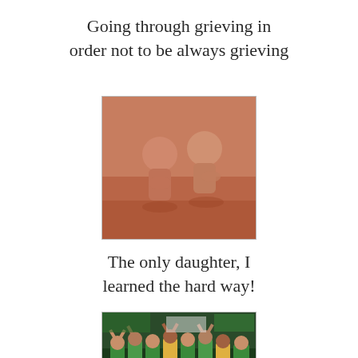Going through grieving in order not to be always grieving
[Figure (photo): Vintage red-toned photo of two young children crouching outdoors, appears to be at a poolside or deck area.]
The only daughter, I learned the hard way!
[Figure (photo): Photo of a group of soccer/football players in green and yellow uniforms celebrating or acknowledging a crowd.]